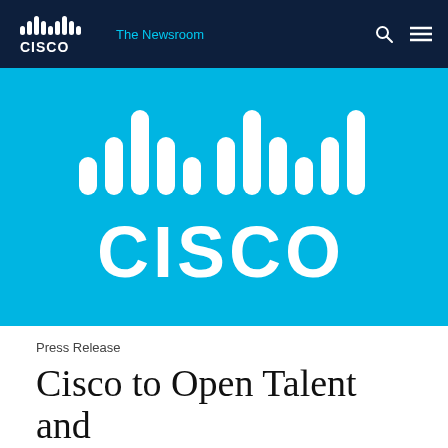Cisco | The Newsroom
[Figure (logo): Cisco logo (white) on cyan/blue background]
Press Release
Cisco to Open Talent and